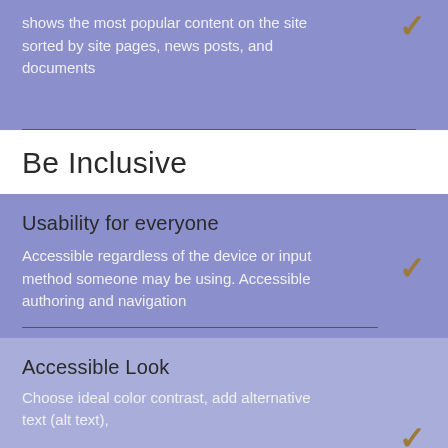shows the most popular content on the site sorted by site pages, news posts, and documents
Be Inclusive
Usability for everyone
Accessible regardless of the device or input method someone may be using. Accessible authoring and navigation
Accessible Look
Choose ideal color contrast, add alternative text (alt text),